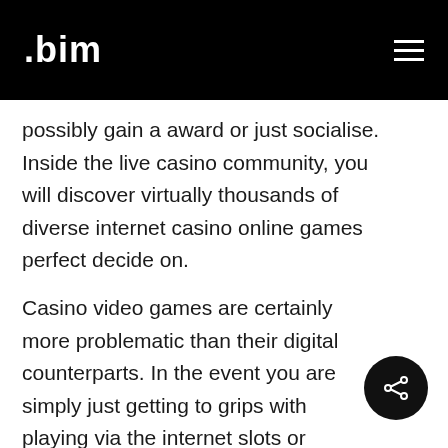.bim
possibly gain a award or just socialise. Inside the live casino community, you will discover virtually thousands of diverse internet casino online games perfect decide on.
Casino video games are certainly more problematic than their digital counterparts. In the event you are simply just getting to grips with playing via the internet slots or perhaps real cash video games, it is